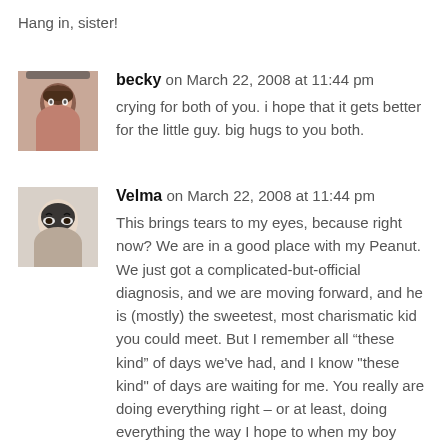Hang in, sister!
becky on March 22, 2008 at 11:44 pm
crying for both of you. i hope that it gets better for the little guy. big hugs to you both.
Velma on March 22, 2008 at 11:44 pm
This brings tears to my eyes, because right now? We are in a good place with my Peanut. We just got a complicated-but-official diagnosis, and we are moving forward, and he is (mostly) the sweetest, most charismatic kid you could meet. But I remember all “these kind” of days we've had, and I know "these kind" of days are waiting for me. You really are doing everything right – or at least, doing everything the way I hope to when my boy